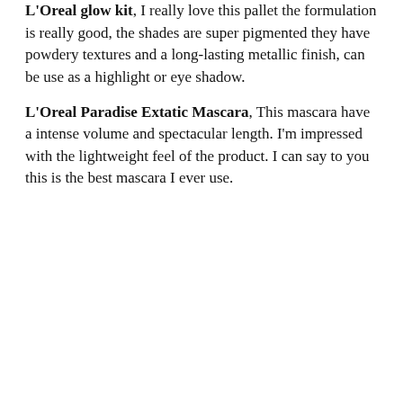L'Oreal glow kit, I really love this pallet the formulation is really good, the shades are super pigmented they have powdery textures and a long-lasting metallic finish, can be use as a highlight or eye shadow.
L'Oreal Paradise Extatic Mascara, This mascara have a intense volume and spectacular length. I'm impressed with the lightweight feel of the product. I can say to you this is the best mascara I ever use.
Privacy & Cookies: This site uses cookies. By continuing to use this website, you agree to their use. To find out more, including how to control cookies, see here: Cookie Policy